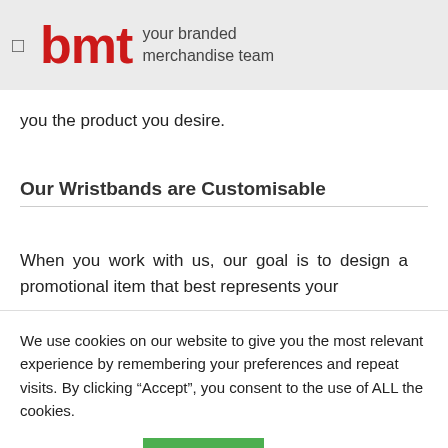bmt your branded merchandise team
you the product you desire.
Our Wristbands are Customisable
When you work with us, our goal is to design a promotional item that best represents your
We use cookies on our website to give you the most relevant experience by remembering your preferences and repeat visits. By clicking “Accept”, you consent to the use of ALL the cookies.
Cookie settings
ACCEPT